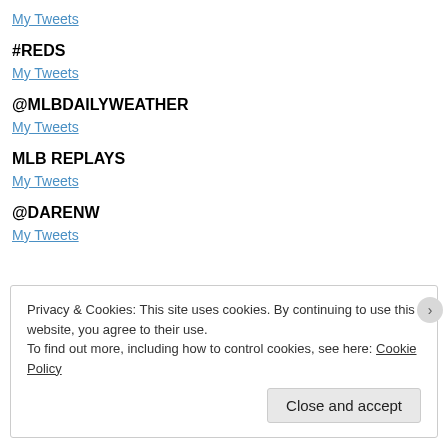My Tweets
#REDS
My Tweets
@MLBDAILYWEATHER
My Tweets
MLB REPLAYS
My Tweets
@DARENW
My Tweets
Privacy & Cookies: This site uses cookies. By continuing to use this website, you agree to their use. To find out more, including how to control cookies, see here: Cookie Policy
Close and accept